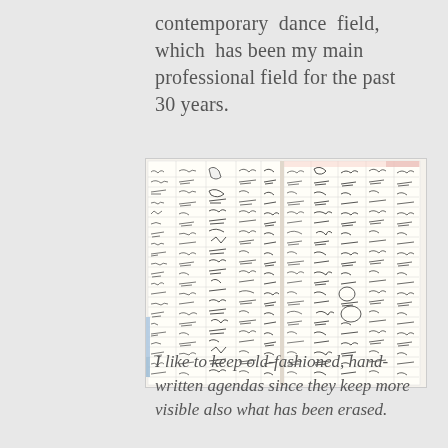contemporary dance field, which has been my main professional field for the past 30 years.
[Figure (photo): Open handwritten agenda/planner notebook spread showing two pages filled with dense handwritten notes, schedules, and annotations in columns and rows.]
I like to keep old-fashioned, hand-written agendas since they keep more visible also what has been erased.